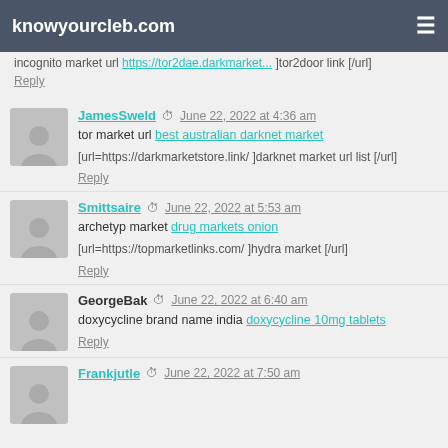knowyourcleb.com
incognito market url [url=https://tor2dae.darkmarket... ]tor2door link [/url]
Reply
JamesSweld  June 22, 2022 at 4:36 am
tor market url best australian darknet market
[url=https://darkmarketstore.link/ ]darknet market url list [/url]
Reply
Smittsaire  June 22, 2022 at 5:53 am
archetyp market drug markets onion
[url=https://topmarketlinks.com/ ]hydra market [/url]
Reply
GeorgeBak  June 22, 2022 at 6:40 am
doxycycline brand name india doxycycline 10mg tablets
Reply
Frankjutle  June 22, 2022 at 7:50 am